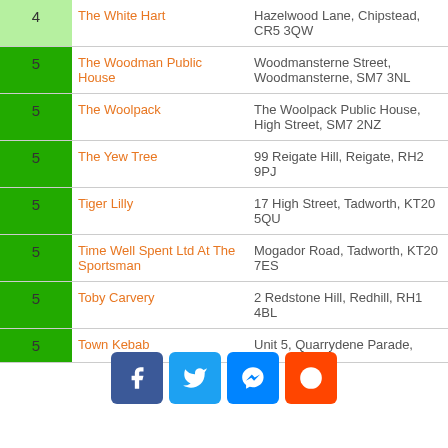| Rating | Name | Address |
| --- | --- | --- |
| 4 | The White Hart | Hazelwood Lane, Chipstead, CR5 3QW |
| 5 | The Woodman Public House | Woodmansterne Street, Woodmansterne, SM7 3NL |
| 5 | The Woolpack | The Woolpack Public House, High Street, SM7 2NZ |
| 5 | The Yew Tree | 99 Reigate Hill, Reigate, RH2 9PJ |
| 5 | Tiger Lilly | 17 High Street, Tadworth, KT20 5QU |
| 5 | Time Well Spent Ltd At The Sportsman | Mogador Road, Tadworth, KT20 7ES |
| 5 | Toby Carvery | 2 Redstone Hill, Redhill, RH1 4BL |
| 5 | Town Kebab | Unit 5, Quarrydene Parade, |